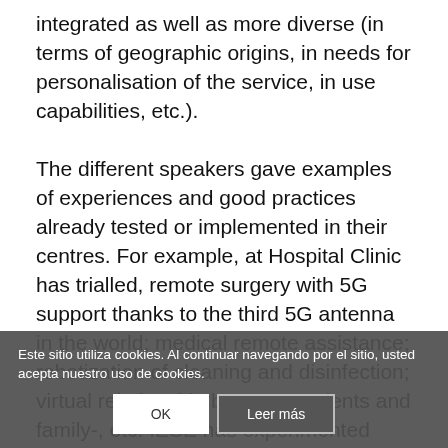integrated as well as more diverse (in terms of geographic origins, in needs for personalisation of the service, in use capabilities, etc.).

The different speakers gave examples of experiences and good practices already tested or implemented in their centres. For example, at Hospital Clinic has trialled, remote surgery with 5G support thanks to the third 5G antenna in the world; medical remote assistance; robotization of cleaning and disinfection; virtual relationship between patients and family-, etc. IESE has experimented with virtual classrooms based on 5G computing to... essential and remote training... at the Palau de la Música, the Palau Digit... allows contact with
Este sitio utiliza cookies. Al continuar navegando por el sitio, usted acepta nuestro uso de cookies.